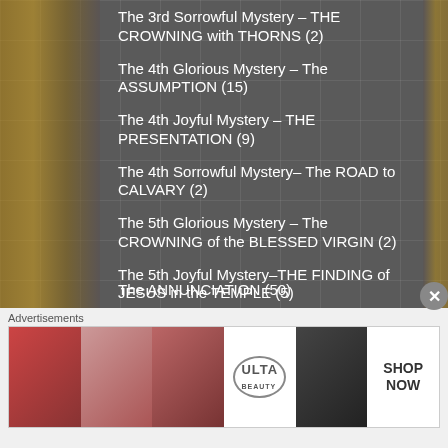The 3rd Sorrowful Mystery – THE CROWNING with THORNS (2)
The 4th Glorious Mystery – The ASSUMPTION (15)
The 4th Joyful Mystery – THE PRESENTATION (9)
The 4th Sorrowful Mystery– The ROAD to CALVARY (2)
The 5th Glorious Mystery – The CROWNING of the BLESSED VIRGIN (2)
The 5th Joyful Mystery–THE FINDING of JESUS in the TEMPLE (5)
The 5th Sorrowful Mystery – The CRUCIFIXION (14)
The ANNUNCIATION (50)
Advertisements
[Figure (photo): Ulta Beauty advertisement banner with cosmetic images and SHOP NOW call to action]